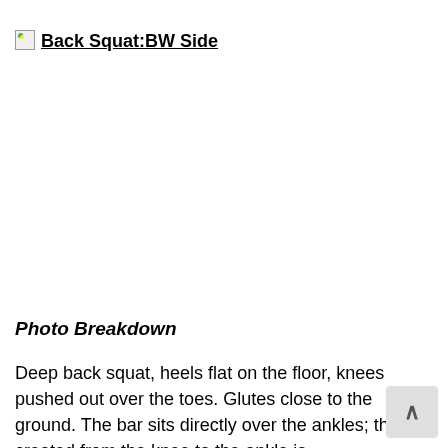[Figure (photo): Broken image placeholder with title 'Back Squat:BW Side' shown as a linked underlined heading next to a broken image icon]
Photo Breakdown
Deep back squat, heels flat on the floor, knees pushed out over the toes. Glutes close to the ground. The bar sits directly over the ankles; the line created from the knee to the ankle is